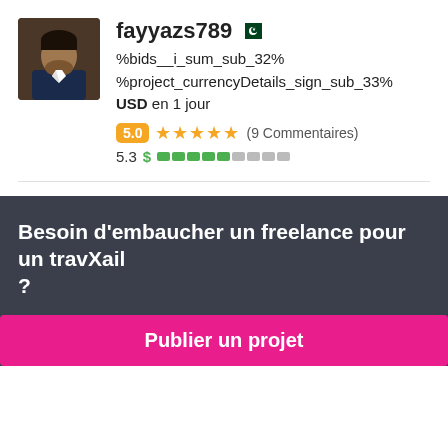fayyazs789
%bids__i_sum_sub_32% %project_currencyDetails_sign_sub_33% USD en 1 jour
5.0 ★★★★★ (9 Commentaires)
5.3 $ ████░░░░░
Besoin d'embaucher un freelance pour un travail ?
Publier un projet